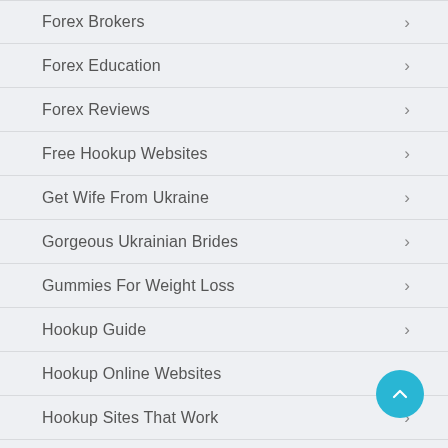Forex Brokers
Forex Education
Forex Reviews
Free Hookup Websites
Get Wife From Ukraine
Gorgeous Ukrainian Brides
Gummies For Weight Loss
Hookup Guide
Hookup Online Websites
Hookup Sites That Work